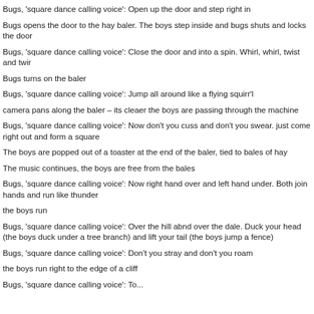Bugs, 'square dance calling voice': Open up the door and step right in
Bugs opens the door to the hay baler. The boys step inside and bugs shuts and locks the door
Bugs, 'square dance calling voice': Close the door and into a spin. Whirl, whirl, twist and twir
Bugs turns on the baler
Bugs, 'square dance calling voice': Jump all around like a flying squirr'l
camera pans along the baler – its cleaer the boys are passing through the machine
Bugs, 'square dance calling voice': Now don't you cuss and don't you swear. just come right out and form a square
The boys are popped out of a toaster at the end of the baler, tied to bales of hay
The music continues, the boys are free from the bales
Bugs, 'square dance calling voice': Now right hand over and left hand under. Both join hands and run like thunder
the boys run
Bugs, 'square dance calling voice': Over the hill abnd over the dale. Duck your head (the boys duck under a tree branch) and lift your tail (the boys jump a fence)
Bugs, 'square dance calling voice': Don't you stray and don't you roam
the boys run right to the edge of a cliff
Bugs, 'square dance calling voice': To...